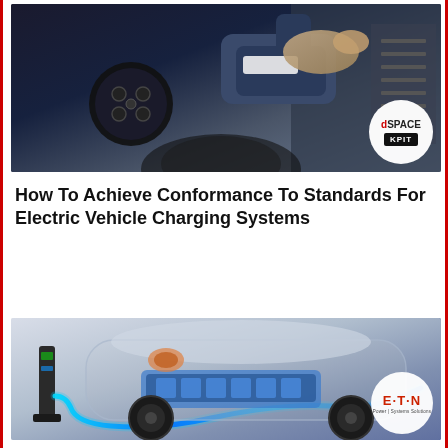[Figure (photo): Close-up photo of a hand plugging an EV charging connector into a vehicle charging port, with dSPACE and KPIT logos in the bottom-right corner]
How To Achieve Conformance To Standards For Electric Vehicle Charging Systems
[Figure (illustration): Cutaway illustration of an electric vehicle showing the battery and power electronics connected to a charging station via a glowing blue cable, with Eaton logo in the bottom-right corner]